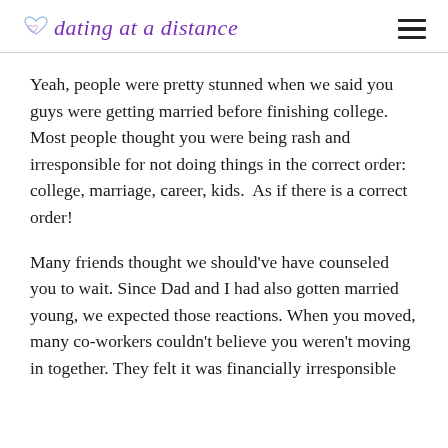dating at a distance
Yeah, people were pretty stunned when we said you guys were getting married before finishing college. Most people thought you were being rash and irresponsible for not doing things in the correct order: college, marriage, career, kids.  As if there is a correct order!
Many friends thought we should've have counseled you to wait. Since Dad and I had also gotten married young, we expected those reactions. When you moved, many co-workers couldn't believe you weren't moving in together. They felt it was financially irresponsible